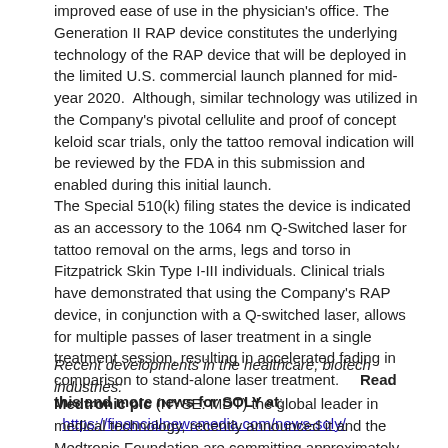improved ease of use in the physician's office. The Generation II RAP device constitutes the underlying technology of the RAP device that will be deployed in the limited U.S. commercial launch planned for mid-year 2020.  Although, similar technology was utilized in the Company's pivotal cellulite and proof of concept keloid scar trials, only the tattoo removal indication will be reviewed by the FDA in this submission and enabled during this initial launch.
The Special 510(k) filing states the device is indicated as an accessory to the 1064 nm Q-Switched laser for tattoo removal on the arms, legs and torso in Fitzpatrick Skin Type I-III individuals. Clinical trials have demonstrated that using the Company's RAP device, in conjunction with a Q-switched laser, allows for multiple passes of laser treatment in a single treatment session, resulting in accelerated fading in comparison to stand-alone laser treatment.    Read this and more news for SOLY at: https://financialnewsmedia.com/news-soly/
Recent developments in the healthcare, biotech industries:
Medtronic plc (NYSE: MDT) the global leader in medical technology, recently announced it and the Medtronic Foundation are committing approximately $1.2M to coronavirus relief efforts across the globe. These contributions encompass Medtronic